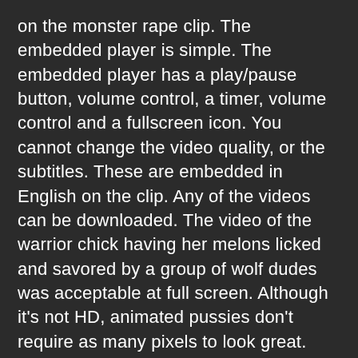on the monster rape clip. The embedded player is simple. The embedded player has a play/pause button, volume control, a timer, volume control and a fullscreen icon. You cannot change the video quality, or the subtitles. These are embedded in English on the clip. Any of the videos can be downloaded. The video of the warrior chick having her melons licked and savored by a group of wolf dudes was acceptable at full screen. Although it's not HD, animated pussies don't require as many pixels to look great. This clip seems to be a DVD copy of a 20 minute scene. The quality of the video seems to be consistent across the site. The majority of clips I saw were between 20 and 30 minutes in length. As I was skipping around for the best bits, I only had some buffering. The scene in which the chick with the boobs was fucked by a plant included a scene. Later, as she is getting fucked by an actual dick, she said, "A penis will be